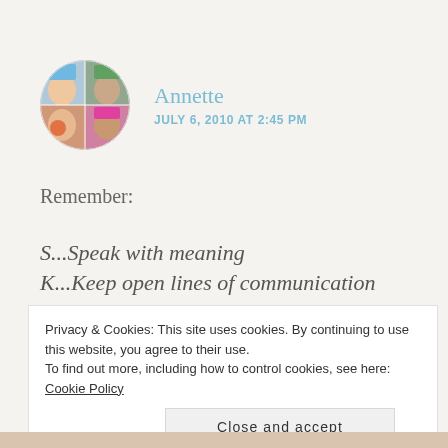[Figure (photo): Round avatar photo of Annette showing a collage of 4 faces with colorful wigs]
Annette
JULY 6, 2010 AT 2:45 PM
Remember:
S...Speak with meaning
K...Keep open lines of communication
Privacy & Cookies: This site uses cookies. By continuing to use this website, you agree to their use.
To find out more, including how to control cookies, see here: Cookie Policy
Close and accept